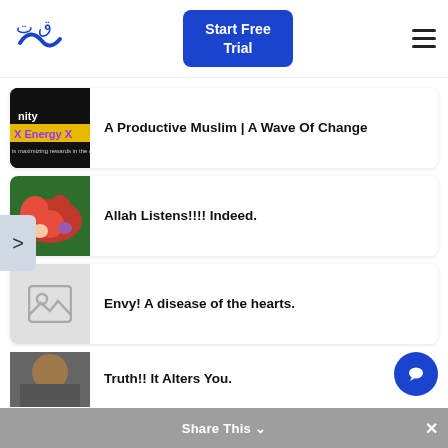[Figure (logo): Arabic calligraphy logo in blue]
Start Free Trial
A Productive Muslim | A Wave Of Change
Allah Listens!!!! Indeed.
Envy! A disease of the hearts.
Truth!! It Alters You.
Share This